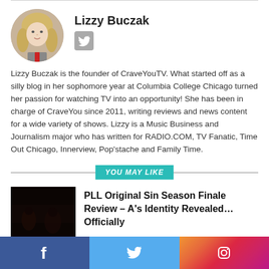[Figure (photo): Circular author photo of Lizzy Buczak, a young woman with long blonde hair]
Lizzy Buczak
[Figure (logo): Twitter bird icon in a grey rounded square button]
Lizzy Buczak is the founder of CraveYouTV. What started off as a silly blog in her sophomore year at Columbia College Chicago turned her passion for watching TV into an opportunity! She has been in charge of CraveYou since 2011, writing reviews and news content for a wide variety of shows. Lizzy is a Music Business and Journalism major who has written for RADIO.COM, TV Fanatic, Time Out Chicago, Innerview, Pop'stache and Family Time.
YOU MAY LIKE
[Figure (photo): Dark thumbnail image for PLL Original Sin article]
PLL Original Sin Season Finale Review – A's Identity Revealed… Officially
[Figure (logo): Social media bar with Facebook, Twitter, and Instagram icons]